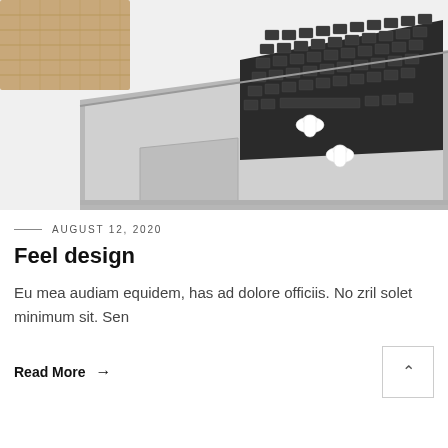[Figure (photo): Laptop computer with AirPods resting on the keyboard, white background, silver MacBook with trackpad visible, wooden mat in top left corner]
AUGUST 12, 2020
Feel design
Eu mea audiam equidem, has ad dolore officiis. No zril solet minimum sit. Sen
Read More →